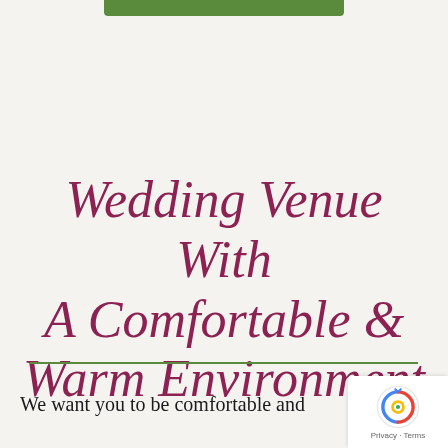[Figure (other): Green decorative bar at top center of page]
Wedding Venue With A Comfortable & Warm Environment
We want you to be comfortable and